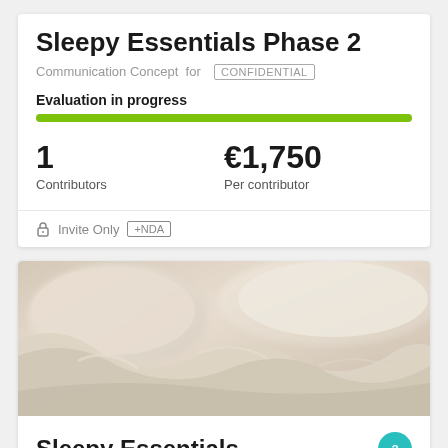Sleepy Essentials Phase 2
Communication Concept for CONFIDENTIAL
Evaluation in progress
1
Contributors
€1,750
Per contributor
Invite Only +NDA
[Figure (photo): Photo of unmade bed with white/beige crumpled pillows and duvet]
Sleepy Essentials